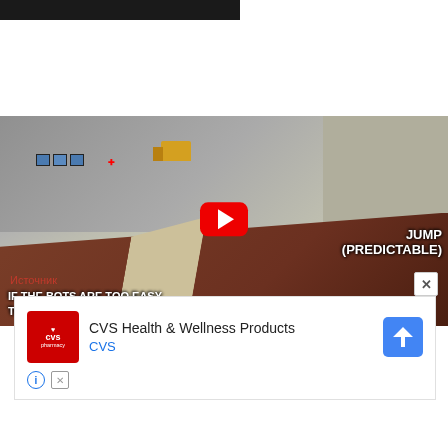[Figure (screenshot): Partial dark screenshot of a game scene at the very top of the page]
[Figure (screenshot): YouTube-style video thumbnail of a game scene (Team Fortress / FPS style) showing a warehouse/base environment with a red play button overlay. Text on video reads JUMP (PREDICTABLE) and IF THE BOTS ARE TOO EASY TO HIT, THERE ARE OPTIONS]
Источник
[Figure (screenshot): Advertisement banner for CVS Health & Wellness Products showing CVS Pharmacy logo, text 'CVS Health & Wellness Products' with 'CVS' in blue, a Google Maps-style navigation icon, info icon and close button]